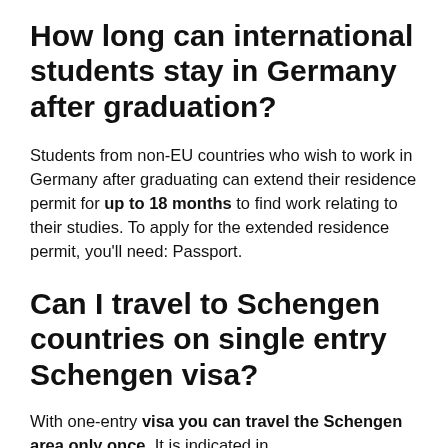How long can international students stay in Germany after graduation?
Students from non-EU countries who wish to work in Germany after graduating can extend their residence permit for up to 18 months to find work relating to their studies. To apply for the extended residence permit, you'll need: Passport.
Can I travel to Schengen countries on single entry Schengen visa?
With one-entry visa you can travel the Schengen area only once. It is indicated in